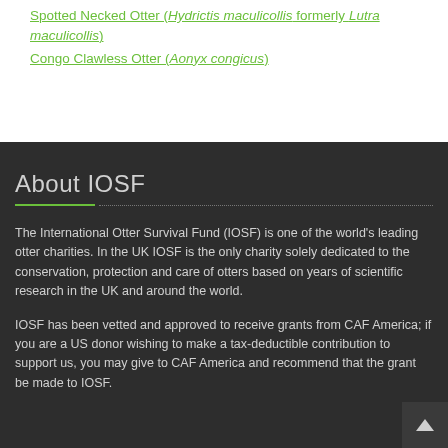Spotted Necked Otter (Hydrictis maculicollis formerly Lutra maculicollis)
Congo Clawless Otter (Aonyx congicus)
About IOSF
The International Otter Survival Fund (IOSF) is one of the world's leading otter charities. In the UK IOSF is the only charity solely dedicated to the conservation, protection and care of otters based on years of scientific research in the UK and around the world.
IOSF has been vetted and approved to receive grants from CAF America; if you are a US donor wishing to make a tax-deductible contribution to support us, you may give to CAF America and recommend that the grant be made to IOSF.